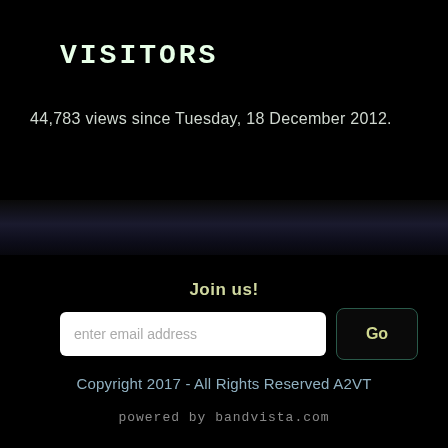VISITORS
44,783 views since Tuesday, 18 December 2012.
Join us!
enter email address
Go
Copyright 2017 - All Rights Reserved A2VT
powered by bandvista.com